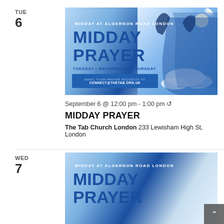TUE
6
[Figure (photo): Midday Prayer promotional banner with blue sky, clouds, and silhouette of person in prayer. Text: MIDDAY AT ALGERNON ROAD LONDON / MIDDAY PRAYER / TUESDAY | WEDNESDAY | THURSDAY / EMAIL YOUR PRAYER REQUESTS TO CONNECT@THETAB.ORG.UK]
September 6 @ 12:00 pm - 1:00 pm ↺
MIDDAY PRAYER
The Tab Church London 233 Lewisham High St, London
WED
7
[Figure (photo): Midday Prayer promotional banner (partial, cropped at bottom) with blue sky, clouds, and silhouette. Text: MIDDAY AT ALGERNON ROAD LONDON / MIDDAY / PRAYER (partially visible)]